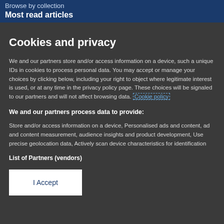Browse by collection
Most read articles
Cookies and privacy
We and our partners store and/or access information on a device, such a unique IDs in cookies to process personal data. You may accept or manage your choices by clicking below, including your right to object where legitimate interest is used, or at any time in the privacy policy page. These choices will be signaled to our partners and will not affect browsing data. Cookie policy
We and our partners process data to provide:
Store and/or access information on a device, Personalised ads and content, ad and content measurement, audience insights and product development, Use precise geolocation data, Actively scan device characteristics for identification
List of Partners (vendors)
I Accept